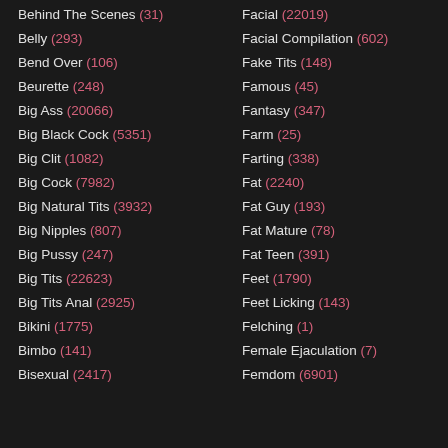Behind The Scenes (31) | Facial (22019)
Belly (293)
Facial Compilation (602)
Bend Over (106)
Fake Tits (148)
Beurette (248)
Famous (45)
Big Ass (20066)
Fantasy (347)
Big Black Cock (5351)
Farm (25)
Big Clit (1082)
Farting (338)
Big Cock (7982)
Fat (2240)
Big Natural Tits (3932)
Fat Guy (193)
Big Nipples (807)
Fat Mature (78)
Big Pussy (247)
Fat Teen (391)
Big Tits (22623)
Feet (1790)
Big Tits Anal (2925)
Feet Licking (143)
Bikini (1775)
Felching (1)
Bimbo (141)
Female Ejaculation (7)
Bisexual (2417)
Femdom (6901)